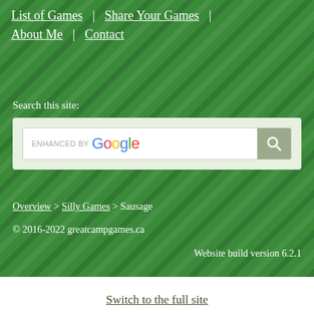List of Games | Share Your Games | About Me | Contact
Search this site:
[Figure (screenshot): Google search bar with enhanced by Google label and search button]
Overview > Silly Games > Sausage
© 2016-2022 greatcampgames.ca
Website build version 6.2.1
Switch to the full site